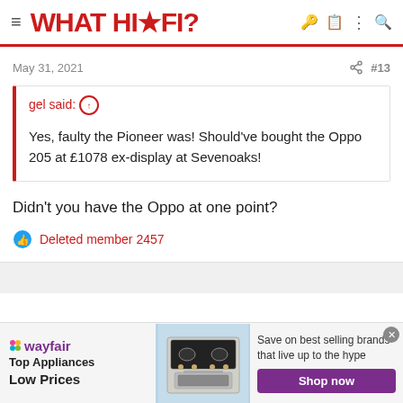WHAT HI-FI?
May 31, 2021  #13
gel said: ↑

Yes, faulty the Pioneer was! Should've bought the Oppo 205 at £1078 ex-display at Sevenoaks!
Didn't you have the Oppo at one point?
Deleted member 2457
[Figure (screenshot): Wayfair advertisement banner: Top Appliances Low Prices, image of stove/oven, Save on best selling brands that live up to the hype, Shop now button]